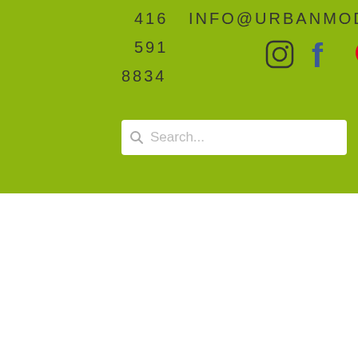416 591 8834   INFO@URBANMODE.COM
[Figure (screenshot): Instagram, Facebook, and Pinterest social media icons in the green header bar]
[Figure (screenshot): Search bar with magnifying glass icon and placeholder text 'Search...']
SideBySide Wood Dining Chair - New!
$459.00